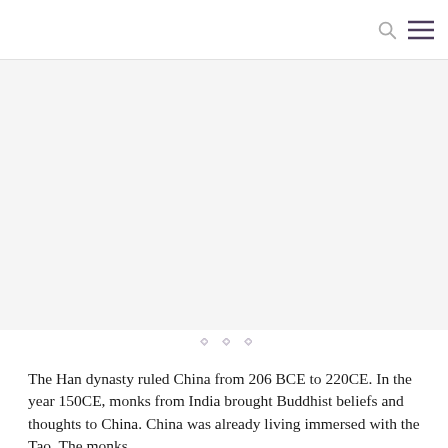[Figure (photo): Large image placeholder area (white/light gray background), appears to be a photo related to Han dynasty or Buddhism in China, partially visible]
❖ ❖ ❖
The Han dynasty ruled China from 206 BCE to 220CE. In the year 150CE, monks from India brought Buddhist beliefs and thoughts to China. China was already living immersed with the Tao. The monks